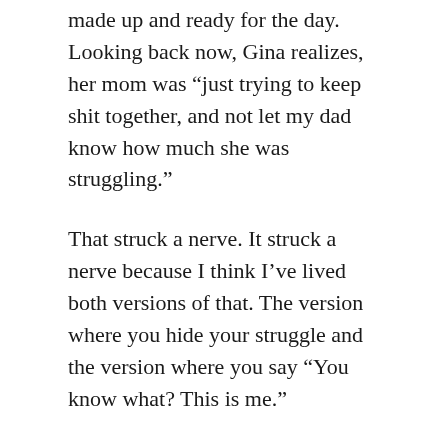made up and ready for the day. Looking back now, Gina realizes, her mom was “just trying to keep shit together, and not let my dad know how much she was struggling.”
That struck a nerve. It struck a nerve because I think I’ve lived both versions of that. The version where you hide your struggle and the version where you say “You know what? This is me.”
We hide things. It can be depression, as in the case of Gina’s mom. It can be addiction of all kinds. It can be insecurity. It can be anxiety. It can be compulsive spending on Amazon Prime. It can be our unfollowed preferences, desires,